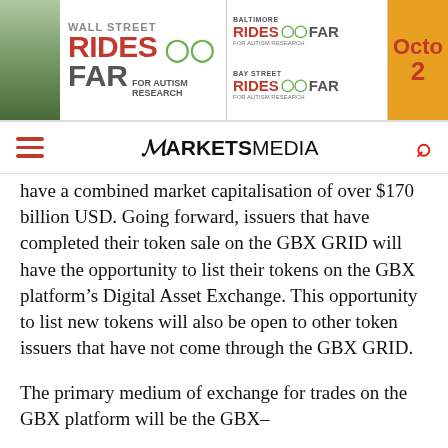[Figure (illustration): Banner advertisement for Wall Street Rides FAR for Autism Research, Baltimore Rides FAR, and Bay Street Rides FAR events, with cyclist imagery and orange date panel showing 'Octo 2' (partially visible).]
MARKETS MEDIA
have a combined market capitalisation of over $170 billion USD. Going forward, issuers that have completed their token sale on the GBX GRID will have the opportunity to list their tokens on the GBX platform’s Digital Asset Exchange. This opportunity to list new tokens will also be open to other token issuers that have not come through the GBX GRID.
The primary medium of exchange for trades on the GBX platform will be the GBX–